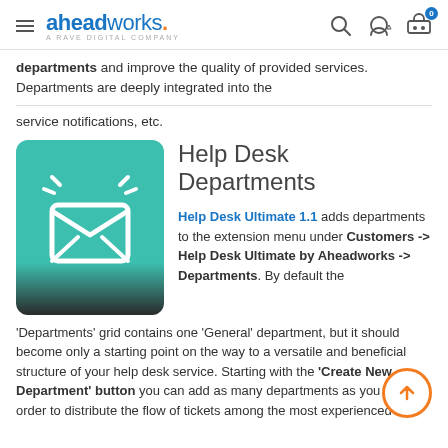aheadworks. A RAVE DIGITAL COMPANY
departments and improve the quality of provided services. Departments are deeply integrated into the
service notifications, etc.
Help Desk Departments
[Figure (illustration): Teal/green rounded square icon with white envelope and notification lines]
Help Desk Ultimate 1.1 adds departments to the extension menu under Customers -> Help Desk Ultimate by Aheadworks -> Departments. By default the 'Departments' grid contains one 'General' department, but it should become only a starting point on the way to a versatile and beneficial structure of your help desk service. Starting with the 'Create New Department' button you can add as many departments as you need in order to distribute the flow of tickets among the most experienced